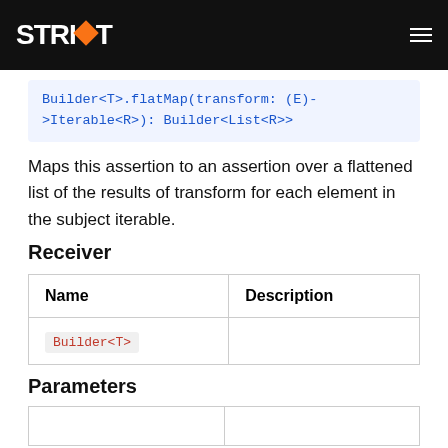STRIKT
Builder<T>.flatMap(transform: (E)->Iterable<R>): Builder<List<R>>
Maps this assertion to an assertion over a flattened list of the results of transform for each element in the subject iterable.
Receiver
| Name | Description |
| --- | --- |
| Builder<T> |  |
Parameters